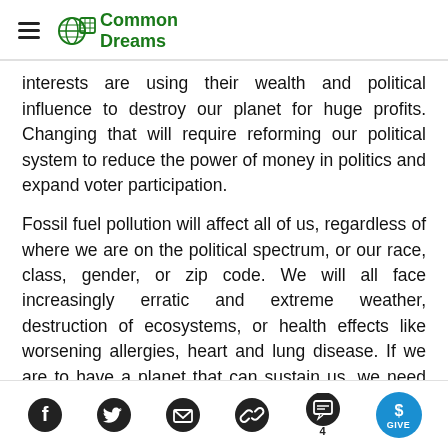Common Dreams
interests are using their wealth and political influence to destroy our planet for huge profits. Changing that will require reforming our political system to reduce the power of money in politics and expand voter participation.
Fossil fuel pollution will affect all of us, regardless of where we are on the political spectrum, or our race, class, gender, or zip code. We will all face increasingly erratic and extreme weather, destruction of ecosystems, or health effects like worsening allergies, heart and lung disease. If we are to have a planet that can sustain us, we need comprehensive, renewable
Social share icons: Facebook, Twitter, Email, Link, Comments (4), Give